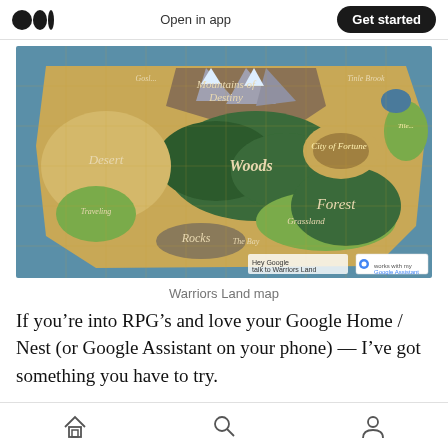Open in app  |  Get started
[Figure (map): Warriors Land fantasy RPG map showing terrain regions including Mountains of Destiny, Desert, Woods, Forest, Rocks, City of Fortune, Grasslands, and other locations. Has 'Hey Google talk to Warriors Land' overlay in bottom right corner.]
Warriors Land map
If you’re into RPG’s and love your Google Home / Nest (or Google Assistant on your phone) — I’ve got something you have to try.